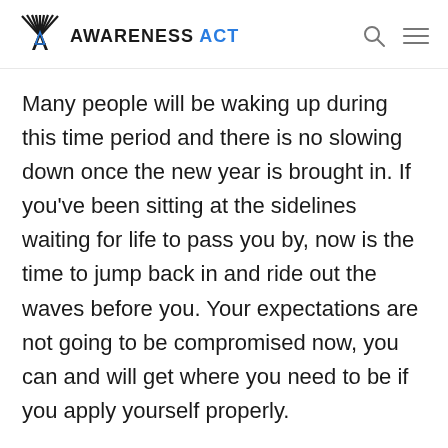AWARENESS ACT
Many people will be waking up during this time period and there is no slowing down once the new year is brought in. If you've been sitting at the sidelines waiting for life to pass you by, now is the time to jump back in and ride out the waves before you. Your expectations are not going to be compromised now, you can and will get where you need to be if you apply yourself properly.
World Healing Academy wrote as